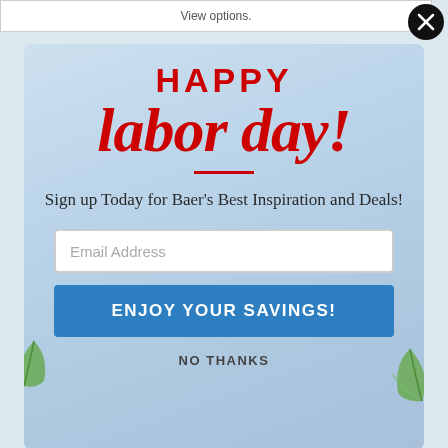View options.
[Figure (screenshot): Modal popup for Labor Day promotion on Baer's furniture website with city skyline background, red 'HAPPY labor day!' heading, email signup field, blue 'ENJOY YOUR SAVINGS!' button, and 'NO THANKS' link]
HAPPY labor day!
Sign up Today for Baer's Best Inspiration and Deals!
Email Address
ENJOY YOUR SAVINGS!
NO THANKS